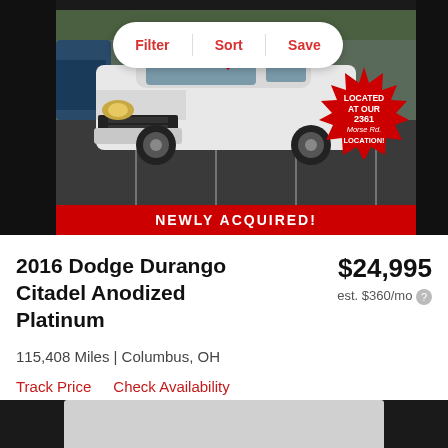[Figure (photo): Screenshot of a car listing app showing a white 2016 Dodge Durango Citadel Anodized Platinum with a red 'NEWLY ACQUIRED!' banner at the bottom and a red starburst badge reading 'LOCATED AT OUR 2361 Morse Rd. LOCATION!'. A Filter/Sort/Save toolbar appears at the top.]
2016 Dodge Durango Citadel Anodized Platinum
$24,995
est. $360/mo
115,408 Miles | Columbus, OH
Track Price    Check Availability